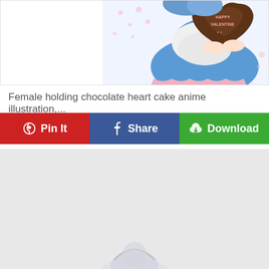[Figure (illustration): Partial anime illustration of a female character in blue outfit with white scarf/collar holding a brown heart-shaped chocolate cake with 'Happy Valentine' text on it]
Female holding chocolate heart cake anime illustration,...
[Figure (other): Three action buttons: Pin It (red, Pinterest icon), Share (blue, Facebook icon), Download (green, cloud download icon)]
[Figure (illustration): Gray advertisement block with partial anime character visible at bottom]